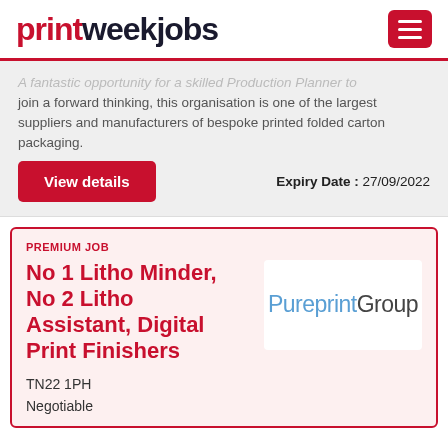printweekjobs
A fantastic opportunity for a skilled Production Planner to join a forward thinking, this organisation is one of the largest suppliers and manufacturers of bespoke printed folded carton packaging.
Expiry Date : 27/09/2022
View details
PREMIUM JOB
No 1 Litho Minder, No 2 Litho Assistant, Digital Print Finishers
[Figure (logo): PureprintGroup logo]
TN22 1PH
Negotiable